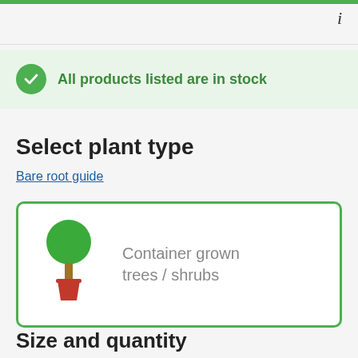All products listed are in stock
Select plant type
Bare root guide
[Figure (illustration): Icon of a container-grown tree/shrub: green round canopy on a brown trunk in a red pot, inside a green-bordered selection card labeled 'Container grown trees / shrubs']
Size and quantity